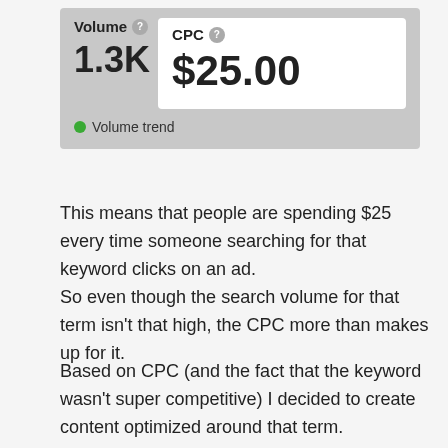[Figure (screenshot): UI widget showing Volume 1.3K and CPC $25.00 with a Volume trend legend item (green dot)]
This means that people are spending $25 every time someone searching for that keyword clicks on an ad.
So even though the search volume for that term isn't that high, the CPC more than makes up for it.
Based on CPC (and the fact that the keyword wasn't super competitive) I decided to create content optimized around that term.